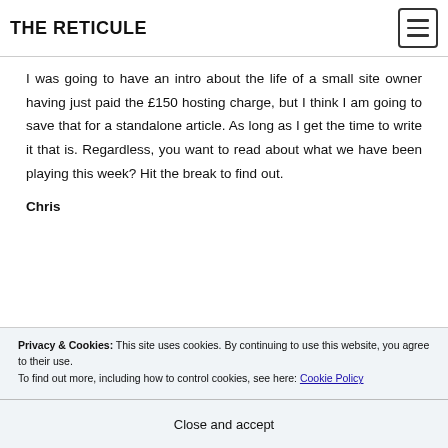THE RETICULE
I was going to have an intro about the life of a small site owner having just paid the £150 hosting charge, but I think I am going to save that for a standalone article. As long as I get the time to write it that is. Regardless, you want to read about what we have been playing this week? Hit the break to find out.
Chris
Privacy & Cookies: This site uses cookies. By continuing to use this website, you agree to their use. To find out more, including how to control cookies, see here: Cookie Policy
Close and accept
experience with the PC and Xbox One versions at the